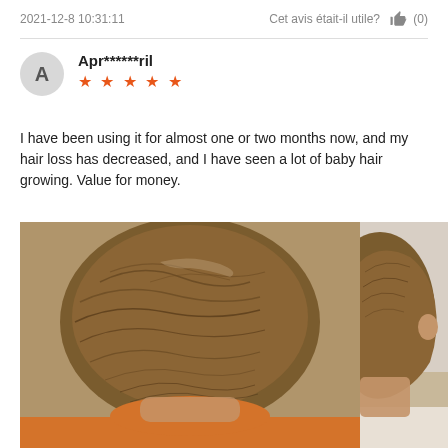2021-12-8 10:31:11
Cet avis était-il utile? (0)
Apr******ril
★★★★★
I have been using it for almost one or two months now, and my hair loss has decreased, and I have seen a lot of baby hair growing. Value for money.
[Figure (photo): Top-down view of a person's head showing hair growth, and a partial side view of another photo next to it]